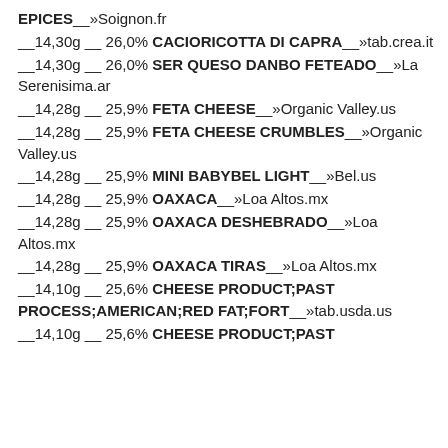EPICES___»Soignon.fr
__14,30g __ 26,0% CACIORICOTTA DI CAPRA___»tab.crea.it
__14,30g __ 26,0% SER QUESO DANBO FETEADO___»La Serenisima.ar
__14,28g __ 25,9% FETA CHEESE___»Organic Valley.us
__14,28g __ 25,9% FETA CHEESE CRUMBLES___»Organic Valley.us
__14,28g __ 25,9% MINI BABYBEL LIGHT___»Bel.us
__14,28g __ 25,9% OAXACA___»Loa Altos.mx
__14,28g __ 25,9% OAXACA DESHEBRADO___»Loa Altos.mx
__14,28g __ 25,9% OAXACA TIRAS___»Loa Altos.mx
__14,10g __ 25,6% CHEESE PRODUCT;PAST PROCESS;AMERICAN;RED FAT;FORT___»tab.usda.us
__14,10g __ 25,6% CHEESE PRODUCT;PAST